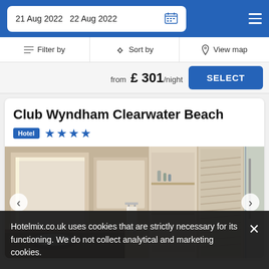21 Aug 2022  22 Aug 2022
Filter by  Sort by  View map
from £ 301/night
Club Wyndham Clearwater Beach
Hotel ★★★★
[Figure (photo): Hotel bathroom with illuminated mirrors, marble countertop, white towels on rail, built-in shelving with toiletries, and a glass-enclosed shower area]
Hotelmix.co.uk uses cookies that are strictly necessary for its functioning. We do not collect analytical and marketing cookies.